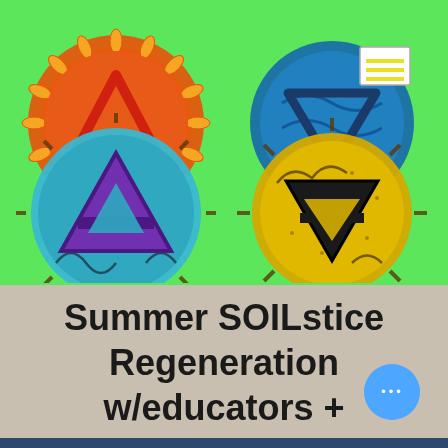[Figure (illustration): Four circular elemental symbols on a bright green background: top-left is an orange/red circle with a red triangle (fire symbol), top-right is a blue circle with an inverted triangle (water symbol), bottom-left is a teal/cyan circle with a purple upward triangle with crossbar (aether/spirit symbol), bottom-right is a yellow circle with a black inverted triangle with crossbar (earth symbol).]
Summer SOILstice Regeneration w/educators + youth + parents